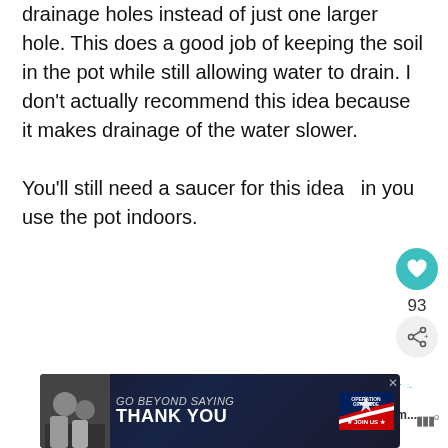drainage holes instead of just one larger hole. This does a good job of keeping the soil in the pot while still allowing water to drain. I don't actually recommend this idea because it makes drainage of the water slower.

You'll still need a saucer for this idea  in you use the pot indoors.
[Figure (infographic): Like button (teal circle with heart icon) showing 93 likes, and a share button (grey circle with share icon)]
[Figure (infographic): WHAT'S NEXT arrow label in teal, with thumbnail image and text 'Growing Ginger From...']
[Figure (infographic): Advertisement banner: GO BEYOND SAYING THANK YOU - Operation Gratitude JOIN US]